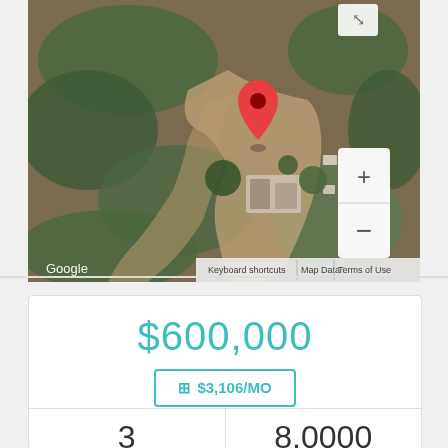[Figure (map): Google satellite/aerial map showing a rural property with a red location pin marker in the center, surrounded by trees and a driveway. Zoom controls (+/-) visible in lower right. Google branding and 'Keyboard shortcuts | Map Data | Terms of Use' in lower area. Expand icon in upper right.]
$600,000
$3,106/MO
| 3 | 8.0000 |